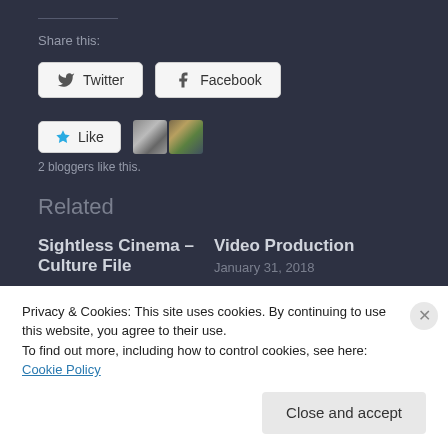Share this:
Twitter
Facebook
Like
2 bloggers like this.
Related
Sightless Cinema – Culture File
Video Production
January 31, 2018
Privacy & Cookies: This site uses cookies. By continuing to use this website, you agree to their use.
To find out more, including how to control cookies, see here: Cookie Policy
Close and accept